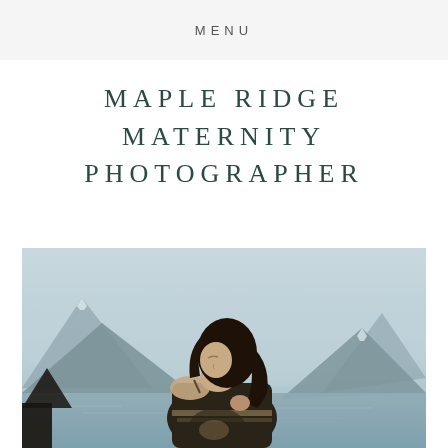MENU
MAPLE RIDGE MATERNITY PHOTOGRAPHER
[Figure (photo): A pregnant woman with long dark hair looks down, wrapped in a dark striped blanket/shawl, photographed outdoors against a misty mountain lake background with snow-capped mountains in the background.]